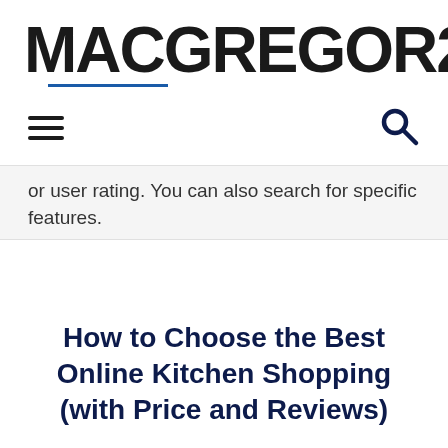MACGREGOR26
or user rating. You can also search for specific features.
How to Choose the Best Online Kitchen Shopping (with Price and Reviews)
Although most Online Kitchen Shopping are similar, there